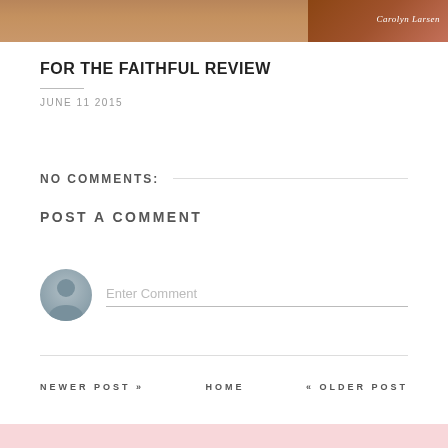[Figure (photo): Top portion of a book cover or blog header image showing warm brown tones with 'Carolyn Larsen' text visible in white italic on the right side]
FOR THE FAITHFUL REVIEW
JUNE 11 2015
NO COMMENTS:
POST A COMMENT
[Figure (illustration): Default user avatar circle with grey silhouette of a person, next to an 'Enter Comment' input field with bottom border]
NEWER POST »    HOME    « OLDER POST